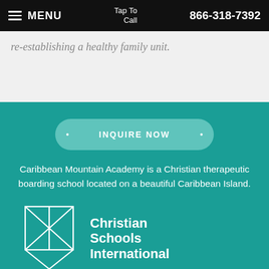MENU  |  Tap To Call  866-318-7392
re-establishing a healthy family unit.
INQUIRE NOW
Caribbean Mountain Academy is a Christian therapeutic boarding school located on a beautiful Caribbean Island.
[Figure (logo): Christian Schools International logo — geometric origami-style bird/diamond shape in white outline, with text 'Christian Schools International' in white bold font to the right]